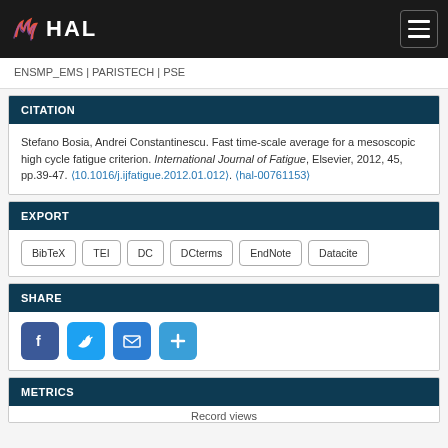HAL
ENSMP_EMS | PARISTECH | PSE
CITATION
Stefano Bosia, Andrei Constantinescu. Fast time-scale average for a mesoscopic high cycle fatigue criterion. International Journal of Fatigue, Elsevier, 2012, 45, pp.39-47. ⟨10.1016/j.ijfatigue.2012.01.012⟩. ⟨hal-00761153⟩
EXPORT
BibTeX
TEI
DC
DCterms
EndNote
Datacite
SHARE
[Figure (infographic): Social share buttons: Facebook, Twitter, Email, and a plus/more button]
METRICS
Record views